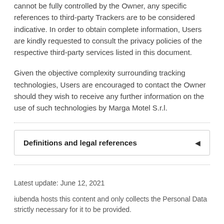cannot be fully controlled by the Owner, any specific references to third-party Trackers are to be considered indicative. In order to obtain complete information, Users are kindly requested to consult the privacy policies of the respective third-party services listed in this document.
Given the objective complexity surrounding tracking technologies, Users are encouraged to contact the Owner should they wish to receive any further information on the use of such technologies by Marga Motel S.r.l.
Definitions and legal references
Latest update: June 12, 2021
iubenda hosts this content and only collects the Personal Data strictly necessary for it to be provided.